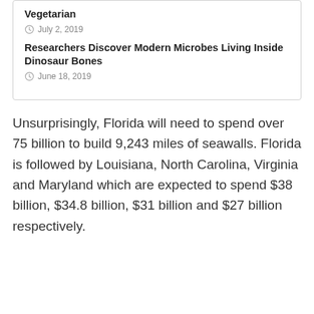Vegetarian
July 2, 2019
Researchers Discover Modern Microbes Living Inside Dinosaur Bones
June 18, 2019
Unsurprisingly, Florida will need to spend over 75 billion to build 9,243 miles of seawalls. Florida is followed by Louisiana, North Carolina, Virginia and Maryland which are expected to spend $38 billion, $34.8 billion, $31 billion and $27 billion respectively.